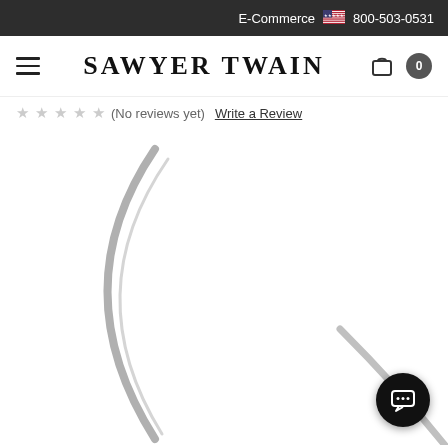E-Commerce  800-503-0531
SAWYER TWAIN
(No reviews yet)  Write a Review
[Figure (photo): Partial view of a curved decorative product (likely a knife or sickle blade) with silver arc shape on white background. A chat widget button appears in the bottom right corner.]